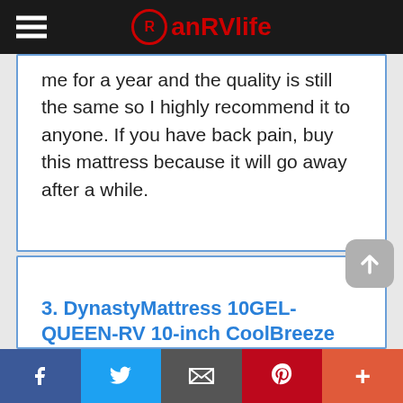anRVlife
me for a year and the quality is still the same so I highly recommend it to anyone. If you have back pain, buy this mattress because it will go away after a while.
3. DynastyMattress 10GEL-QUEEN-RV 10-inch CoolBreeze
Facebook | Twitter | Email | Pinterest | More